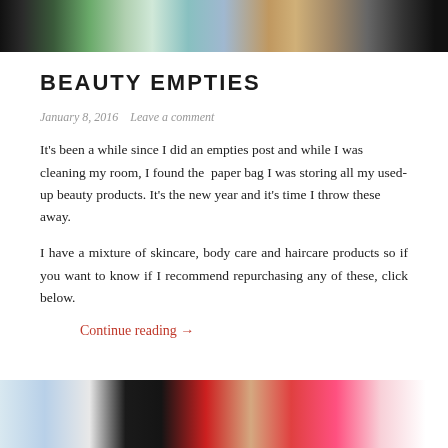[Figure (photo): Top banner image showing various beauty/cosmetic products in a row against a white/light background]
BEAUTY EMPTIES
January 8, 2016   Leave a comment
It's been a while since I did an empties post and while I was cleaning my room, I found the paper bag I was storing all my used-up beauty products. It's the new year and it's time I throw these away.
I have a mixture of skincare, body care and haircare products so if you want to know if I recommend repurchasing any of these, click below.
Continue reading →
[Figure (photo): Bottom image showing various beauty products including Maybelline Master Prime and other cosmetics on a white surface]